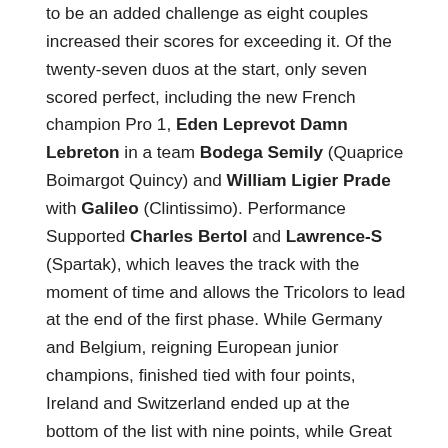to be an added challenge as eight couples increased their scores for exceeding it. Of the twenty-seven duos at the start, only seven scored perfect, including the new French champion Pro 1, Eden Leprevot Damn Lebreton in a team Bodega Semily (Quaprice Boimargot Quincy) and William Ligier Prade with Galileo (Clintissimo). Performance Supported Charles Bertol and Lawrence-S (Spartak), which leaves the track with the moment of time and allows the Tricolors to lead at the end of the first phase. While Germany and Belgium, reigning European junior champions, finished tied with four points, Ireland and Switzerland ended up at the bottom of the list with nine points, while Great Britain, to everyone's surprise, was unfortunately eliminated from the competition after two eliminations. his couples on the river!
In the second race on an identical track, all riders made sure to get back on time! The Monaco team led by Philippe Rozier showed an excellent performance and finished in sixth place thanks in part to Anastasia Nielsen author of a double clean round with Individual